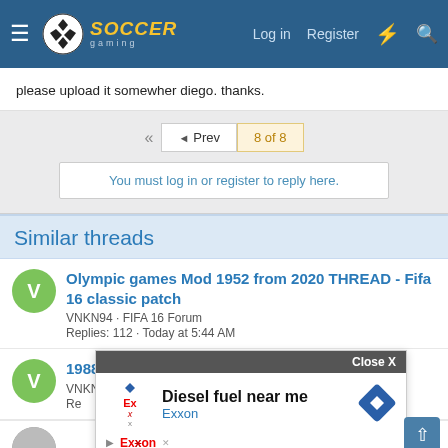Soccer Gaming — Log in  Register
please upload it somewher diego. thanks.
◄◄  ◄ Prev  8 of 8
You must log in or register to reply here.
Similar threads
Olympic games Mod 1952 from 2020 THREAD - Fifa 16 classic patch
VNKN94 · FIFA 16 Forum
Replies: 112 · Today at 5:44 AM
1988 Guatemala kit
VNKN94 · FIFA 16 Forum
[Figure (screenshot): Ad overlay showing 'Diesel fuel near me' Exxon advertisement with Close X button and a blue scroll-up button]